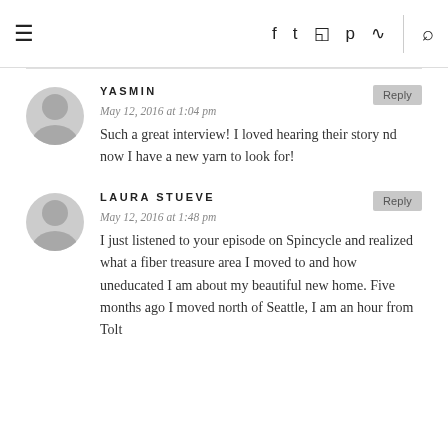≡   f  ✓  ☷  ⊕  ))) | 🔍
YASMIN
May 12, 2016 at 1:04 pm
Such a great interview! I loved hearing their story nd now I have a new yarn to look for!
LAURA STUEVE
May 12, 2016 at 1:48 pm
I just listened to your episode on Spincycle and realized what a fiber treasure area I moved to and how uneducated I am about my beautiful new home. Five months ago I moved north of Seattle, I am an hour from Tolt